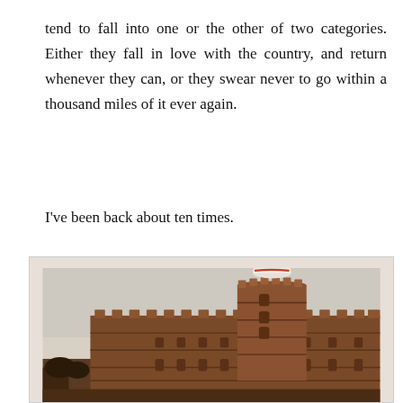tend to fall into one or the other of two categories. Either they fall in love with the country, and return whenever they can, or they swear never to go within a thousand miles of it ever again.
I've been back about ten times.
[Figure (photo): Photograph of the Red Fort (Lal Qila) in Delhi, India. The image shows the massive red sandstone walls and a rounded turret with a white and red dome on top. The battlements with pointed merlons are visible along the top of the walls. The sky is overcast and pale grey. The fort's lower walls and archways are visible.]